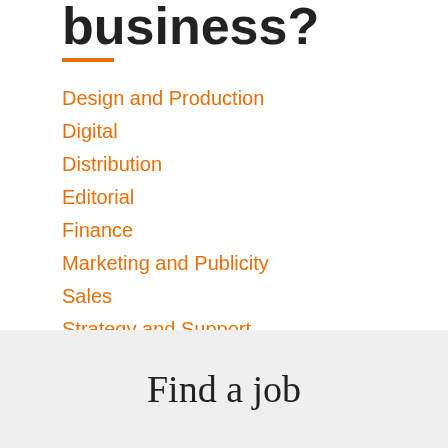business?
Design and Production
Digital
Distribution
Editorial
Finance
Marketing and Publicity
Sales
Strategy and Support
Technology
Find a job